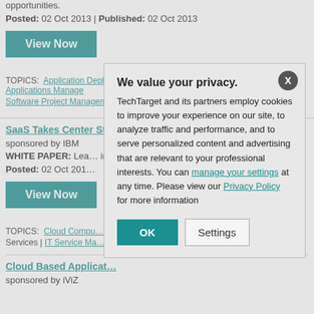opportunities.
Posted: 02 Oct 2013 | Published: 02 Oct 2013
View Now
TOPICS: Application Deployment | Application Life-Cycle Management | Applications Manage... | Software Project Management
SaaS Takes Center St...
sponsored by IBM
WHITE PAPER: Lea... impact in 2014 and b...
Posted: 02 Oct 201...
View Now
TOPICS: Cloud Compu... | Services | IT Service Ma...
Cloud Based Applicat...
sponsored by iViZ
We value your privacy. TechTarget and its partners employ cookies to improve your experience on our site, to analyze traffic and performance, and to serve personalized content and advertising that are relevant to your professional interests. You can manage your settings at any time. Please view our Privacy Policy for more information
OK
Settings